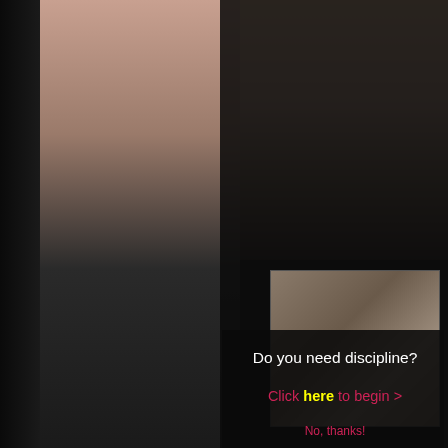[Figure (photo): Advertisement page with two overlapping photos on dark background. Top photo shows a person from behind in black lingerie. Bottom overlay shows a person in high heeled boots with another person kneeling. Text overlay reads: Do you need discipline? Click here to begin > No, thanks!]
Do you need discipline?
Click here to begin >
No, thanks!